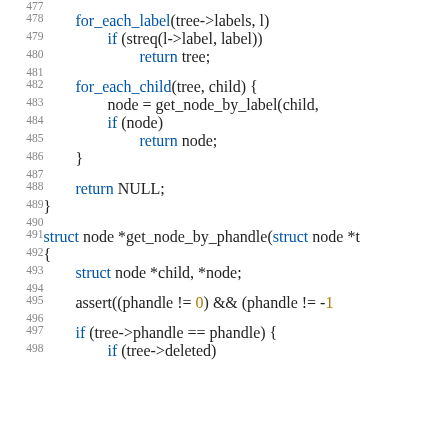Source code listing lines 477-498, showing C functions get_node_by_label and get_node_by_phandle